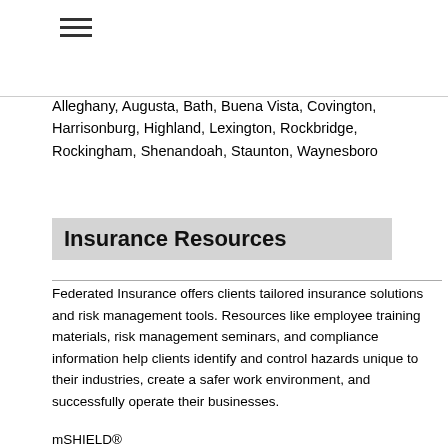[Figure (other): Hamburger menu icon (three horizontal lines)]
Alleghany, Augusta, Bath, Buena Vista, Covington, Harrisonburg, Highland, Lexington, Rockbridge, Rockingham, Shenandoah, Staunton, Waynesboro
Insurance Resources
Federated Insurance offers clients tailored insurance solutions and risk management tools. Resources like employee training materials, risk management seminars, and compliance information help clients identify and control hazards unique to their industries, create a safer work environment, and successfully operate their businesses.
mSHIELD®